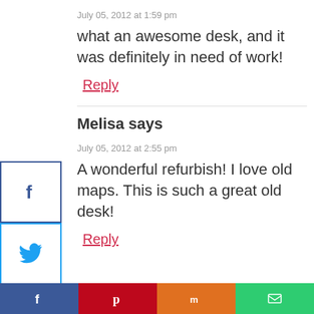July 05, 2012 at 1:59 pm
what an awesome desk, and it was definitely in need of work!
Reply
Melisa says
July 05, 2012 at 2:55 pm
A wonderful refurbish! I love old maps. This is such a great old desk!
Reply